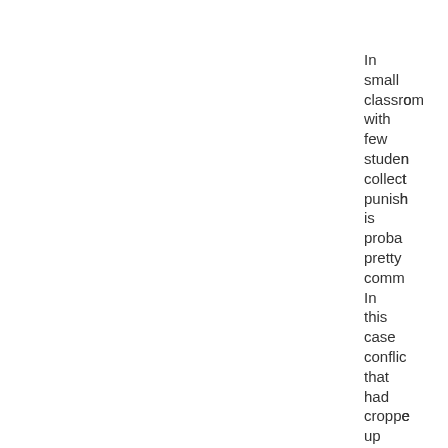In small classrooms with few students collecting punishment is probably pretty common. In this case conflict that had cropped up between